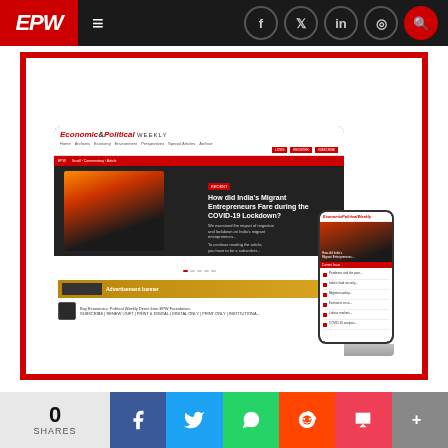EPW – Economic & Political Weekly navigation bar
[Figure (screenshot): Screenshot of Economic & Political Weekly website shown on a laptop and a smartphone, displaying the EPW homepage with articles and navigation]
Dear Reader,
To continue reading, become a subscriber.
Explore our attractive subscription offers.
0 SHARES | Facebook | Twitter | WhatsApp | Reddit | Pocket | More